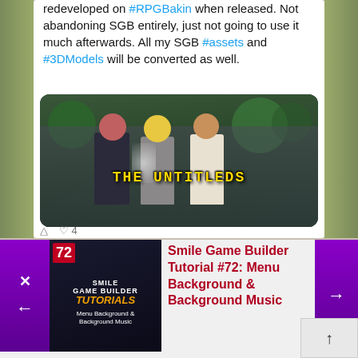redeveloped on #RPGBakin when released. Not abandoning SGB entirely, just not going to use it much afterwards. All my SGB #assets and #3DModels will be converted as well.
[Figure (screenshot): Game screenshot showing three 3D characters (one with red hair, one with yellow hair, one with brown hair) with the title 'THE UNTITLEDS' displayed in golden stylized text]
[Figure (screenshot): Thumbnail for Smile Game Builder Tutorial #72: Menu Background & Background Music, showing the tutorial number 72, SGB logo, and tutorial title in orange/gold text on dark background]
Smile Game Builder Tutorial #72: Menu Background & Background Music